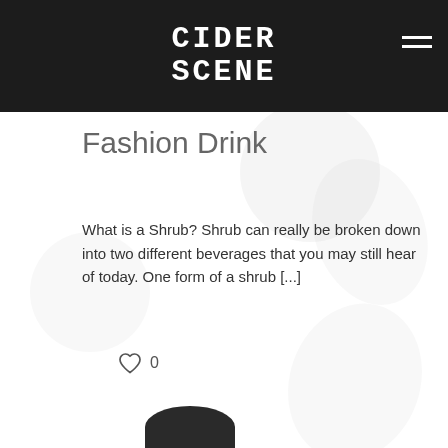CIDER SCENE
Fashion Drink
What is a Shrub? Shrub can really be broken down into two different beverages that you may still hear of today. One form of a shrub [...]
♡ 0
‹ Prev page
| 1 | 2 | 3 | 4 | 5 | 6 | 7 | 8 |
| 9 | 10 | 11 | 12 | 13 | 14 | 15 | 16 |
| 17 | 18 | 19 | 20 | 21 | 22 | 23 | 24 |